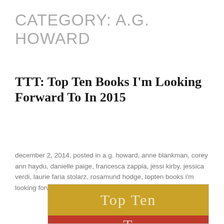CATEGORY: A.G. HOWARD
TTT: Top Ten Books I'm Looking Forward To In 2015
december 2, 2014, posted in a.g. howard, anne blankman, corey ann haydu, danielle paige, francesca zappia, jessi kirby, jessica verdi, laurie faria stolarz, rosamund hodge, topten books i'm looking forward to in 2015, trish doller
[Figure (illustration): A 'Top Ten Tuesday' badge graphic with a golden-yellow upper section displaying 'Top Ten' text and a red lower section showing partial text beginning with 'T']